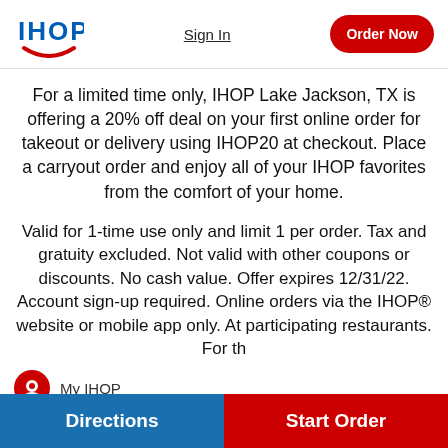[Figure (logo): IHOP logo with blue text and red smile curve]
Sign In
Order Now
For a limited time only, IHOP Lake Jackson, TX is offering a 20% off deal on your first online order for takeout or delivery using IHOP20 at checkout. Place a carryout order and enjoy all of your IHOP favorites from the comfort of your home.
Valid for 1-time use only and limit 1 per order. Tax and gratuity excluded. Not valid with other coupons or discounts. No cash value. Offer expires 12/31/22. Account sign-up required. Online orders via the IHOP® website or mobile app only. At participating restaurants. For th...
My IHOP
Directions
Start Order